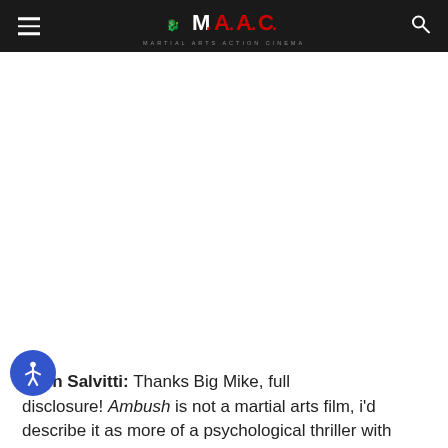M.A.A.C. Martial Arts Action Cinema
John Salvitti: Thanks Big Mike, full disclosure! Ambush is not a martial arts film, i'd describe it as more of a psychological thriller with